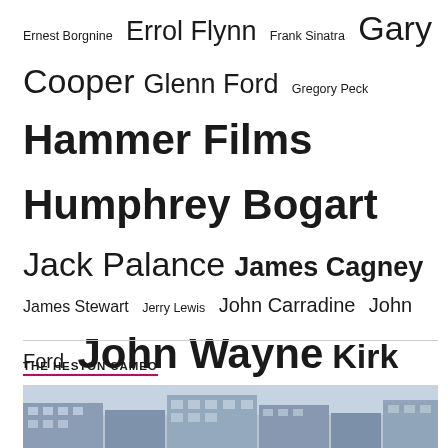Ernest Borgnine  Errol Flynn  Frank Sinatra  Gary Cooper  Glenn Ford  Gregory Peck  Hammer Films  Humphrey Bogart  Jack Palance  James Cagney  James Stewart  Jerry Lewis  John Carradine  John Ford  John Wayne  Kirk Douglas  Lee Marvin  Lon Chaney Jr.  Noir  Oliver Reed  Paul Newman  Peter Cushing  Randolph Scott  Richard Widmark  Robert Mitchum  Robert Ryan  Robert Taylor  Roger Corman  Sam Peckinpah  Steve McQueen  Tony Curtis  Vincent Price  William Holden
THE HESTON CAMEO
[Figure (photo): A partial view of a building exterior, showing windows and architectural details in muted blue-grey tones.]